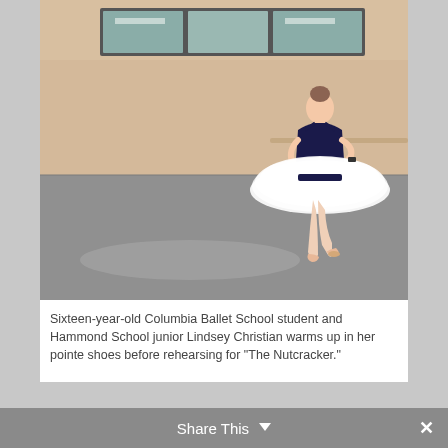[Figure (photo): A sixteen-year-old ballet student wearing a white tutu and dark leotard, standing on pointe shoes in a dance studio. The studio has a light beige wall, a ballet barre, and windows at the top letting in natural light. The floor is gray.]
Sixteen-year-old Columbia Ballet School student and Hammond School junior Lindsey Christian warms up in her pointe shoes before rehearsing for “The Nutcracker.”
Share This ∨  ✕